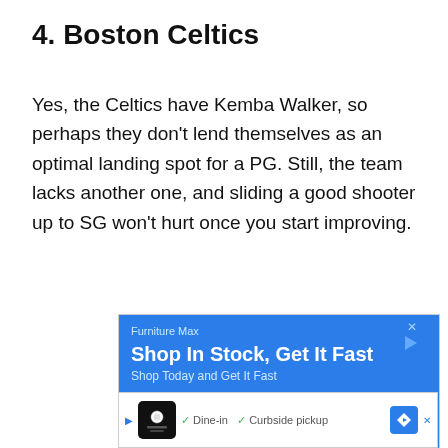4. Boston Celtics
Yes, the Celtics have Kemba Walker, so perhaps they don't lend themselves as an optimal landing spot for a PG. Still, the team lacks another one, and sliding a good shooter up to SG won't hurt once you start improving.
[Figure (other): Advertisement banner for Furniture Max: 'Shop In Stock, Get It Fast' with blue background and sub-headline 'Shop Today and Get It Fast']
[Figure (other): Bottom advertisement bar showing restaurant ad with icon, checkmarks for 'Dine-in' and 'Curbside pickup', and a blue navigation arrow icon]